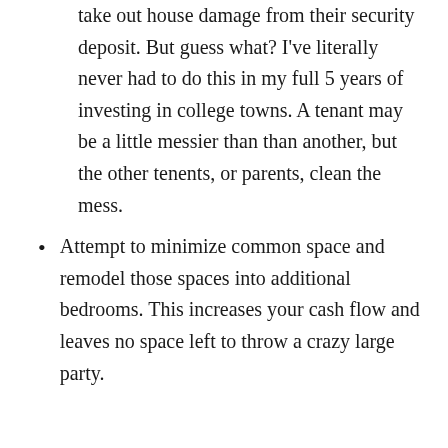take out house damage from their security deposit. But guess what? I've literally never had to do this in my full 5 years of investing in college towns. A tenant may be a little messier than than another, but the other tenents, or parents, clean the mess.
Attempt to minimize common space and remodel those spaces into additional bedrooms. This increases your cash flow and leaves no space left to throw a crazy large party.